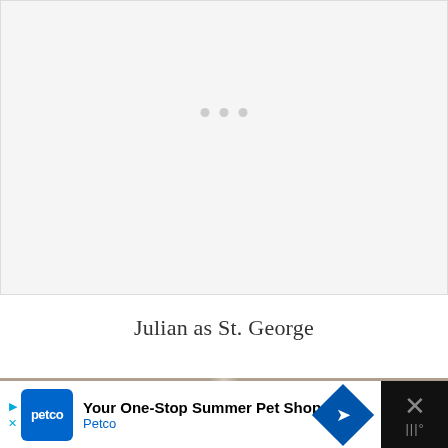[Figure (photo): Loading placeholder with three grey dots centered on a light grey background]
Julian as St. George
[Figure (photo): Partial photo showing a person with a blue helmet or object against a beige/tan wall background]
[Figure (other): Advertisement banner: Petco - Your One-Stop Summer Pet Shop with Petco logo, arrow, diamond navigation icon, and close button]